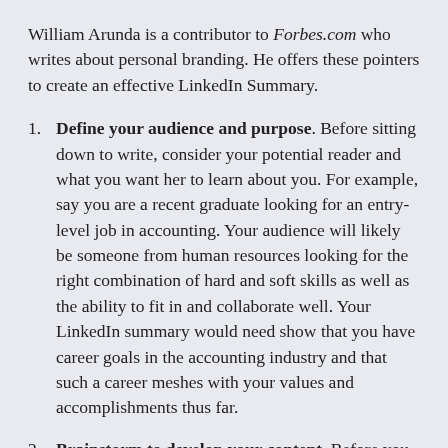William Arunda is a contributor to Forbes.com who writes about personal branding. He offers these pointers to create an effective LinkedIn Summary.
Define your audience and purpose. Before sitting down to write, consider your potential reader and what you want her to learn about you. For example, say you are a recent graduate looking for an entry-level job in accounting. Your audience will likely be someone from human resources looking for the right combination of hard and soft skills as well as the ability to fit in and collaborate well. Your LinkedIn summary would need show that you have career goals in the accounting industry and that such a career meshes with your values and accomplishments thus far.
Brainstorm to develop your content. Before you write the summary, jot down the following, allowing one sentence for each: